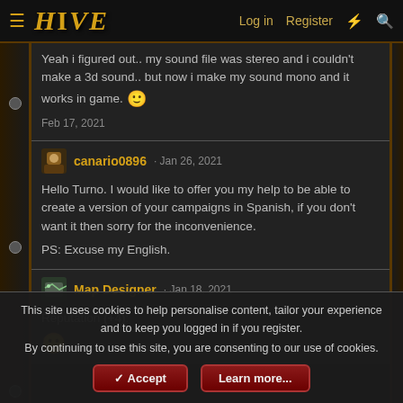HIVE — Log in | Register
Yeah i figured out.. my sound file was stereo and i couldn't make a 3d sound.. but now i make my sound mono and it works in game. 🙂
Feb 17, 2021
canario0896 · Jan 26, 2021
Hello Turno. I would like to offer you my help to be able to create a version of your campaigns in Spanish, if you don't want it then sorry for the inconvenience.
PS: Excuse my English.
Map Designer · Jan 18, 2021
Reputation (+4):
This site uses cookies to help personalise content, tailor your experience and to keep you logged in if you register.
By continuing to use this site, you are consenting to our use of cookies.